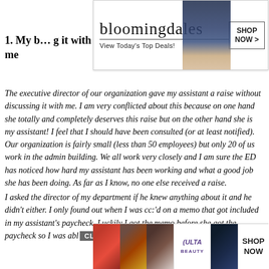[Figure (other): Bloomingdale's advertisement banner at top with hat model, 'View Today's Top Deals!' tagline and 'SHOP NOW >' button]
1. My b… g it with me
The executive director of our organization gave my assistant a raise without discussing it with me. I am very conflicted about this because on one hand she totally and completely deserves this raise but on the other hand she is my assistant! I feel that I should have been consulted (or at least notified). Our organization is fairly small (less than 50 employees) but only 20 of us work in the admin building. We all work very closely and I am sure the ED has noticed how hard my assistant has been working and what a good job she has been doing. As far as I know, no one else received a raise.
I asked the director of my department if he knew anything about it and he didn't either. I only found out when I was cc:'d on a memo that got included in my assistant's paycheck. Luckily I got the memo before she got the paycheck so I was abl… her in person. …is? Is this nor…
[Figure (other): ULTA beauty advertisement banner at bottom with cosmetics/beauty images, CLOSE button overlay, and SHOP NOW button]